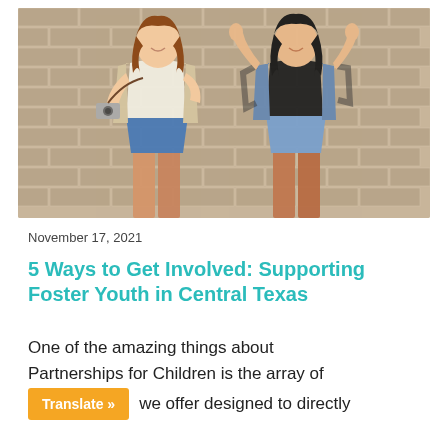[Figure (photo): Two young women posing in front of a brick wall. The woman on the left has long brown hair, wears a white sleeveless top with a beige cardigan and denim shorts, and holds a vintage camera. The woman on the right has dark hair, wears a black top with a denim vest and denim shorts, with her arms raised.]
November 17, 2021
5 Ways to Get Involved: Supporting Foster Youth in Central Texas
One of the amazing things about Partnerships for Children is the array of we offer designed to directly